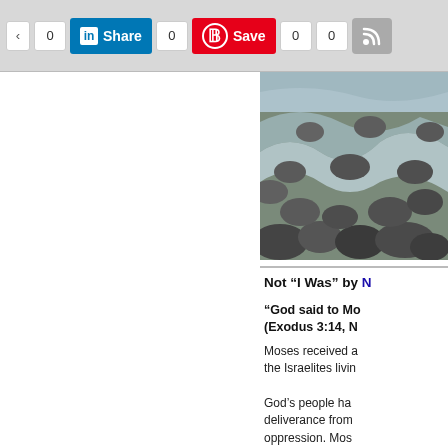[Figure (screenshot): Social sharing toolbar with LinkedIn Share button (count 0), Pinterest Save button (count 0), arrow/count buttons, and RSS icon button]
[Figure (photo): Photo of rocks and rushing water/stream]
Not “I Was” by [author name cut off]
“God said to Mo… (Exodus 3:14, N… Moses received … the Israelites livin…
God’s people ha… deliverance from… oppression. Mos… WAS WHO I WA… would that have … that is in the pas… previously help th… them now. God c… WILL BE,” a futu… them in the futur… needed Him now… pain was immed…